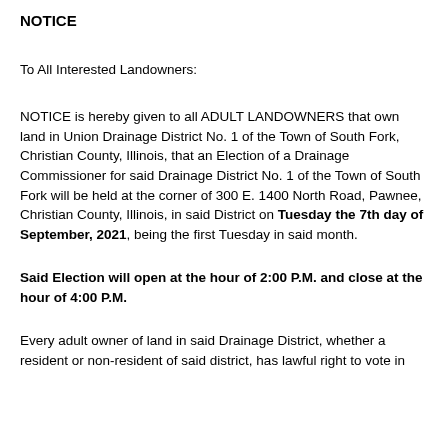NOTICE
To All Interested Landowners:
NOTICE is hereby given to all ADULT LANDOWNERS that own land in Union Drainage District No. 1 of the Town of South Fork, Christian County, Illinois, that an Election of a Drainage Commissioner for said Drainage District No. 1 of the Town of South Fork will be held at the corner of 300 E. 1400 North Road, Pawnee, Christian County, Illinois, in said District on Tuesday the 7th day of September, 2021, being the first Tuesday in said month.
Said Election will open at the hour of 2:00 P.M. and close at the hour of 4:00 P.M.
Every adult owner of land in said Drainage District, whether a resident or non-resident of said district, has lawful right to vote in